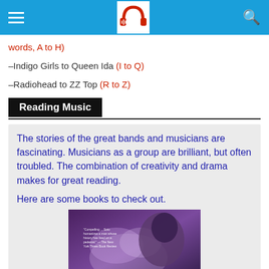Navigation bar with hamburger menu, headphones logo, and search icon
words, A to H)
–Indigo Girls to Queen Ida (I to Q)
–Radiohead to ZZ Top (R to Z)
Reading Music
The stories of the great bands and musicians are fascinating. Musicians as a group are brilliant, but often troubled. The combination of creativity and drama makes for great reading.

Here are some books to check out.
[Figure (photo): Book cover image showing a person with smoke/haze effect in purple tones with text overlay]